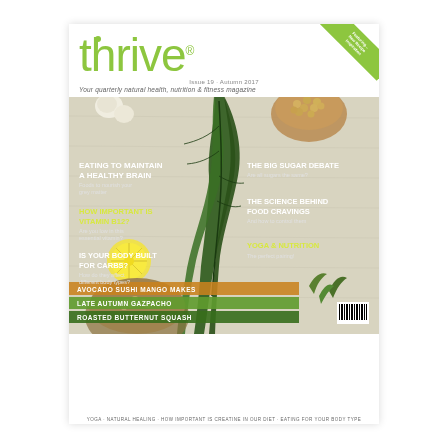[Figure (illustration): Magazine cover of 'thrive' — Issue 19, Autumn 2017. A natural health, nutrition and fitness quarterly magazine. The cover features a large kale leaf, chickpeas, garlic, lemon slices, and grains against a linen background. Green corner ribbon top-right reads 'Featuring... New Recipe Inspiration'. Article headlines visible on cover include: 'Eating to Maintain a Healthy Brain', 'How Important is Vitamin B12?', 'Is Your Body Built for Carbs?', 'The Big Sugar Debate', 'The Science Behind Food Cravings', 'Yoga & Nutrition'. Recipe strips at bottom: 'Avocado Sushi Mango Makes', 'Late Autumn Gazpacho', 'Roasted Butternut Squash'. Barcode visible bottom right.]
YOGA · NATURAL HEALING · HOW IMPORTANT IS CREATINE IN OUR DIET · EATING FOR YOUR BODY TYPE